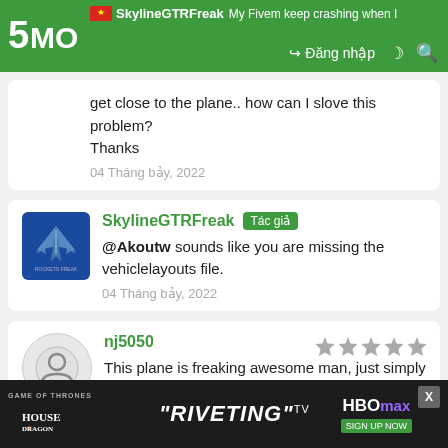5MODS | SkylineGTRFreak | Đăng nhập
get close to the plane.. how can I slove this problem? Thanks
04 Tháng bảy, 2022
SkylineGTRFreak [Tác giả] — @Akoutw sounds like you are missing the vehiclelayouts file.
04 Tháng bảy, 2022
nj5050 — This plane is freaking awesome man, just simply love its handling!
04 Tháng bảy, 2022
Alawey Alsultan — This fighter is one of the most beautiful things that I ...
[Figure (infographic): House of the Dragon / HBO Max advertisement banner at bottom of page]